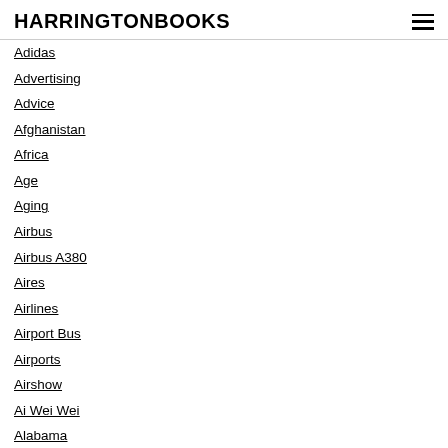HARRINGTONBOOKS
Adidas
Advertising
Advice
Afghanistan
Africa
Age
Aging
Airbus
Airbus A380
Aires
Airlines
Airport Bus
Airports
Airshow
Ai Wei Wei
Alabama
Alan Furst